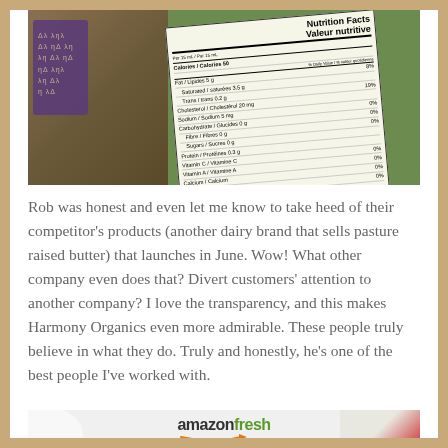[Figure (photo): Photo of a nutrition facts label on a green organic cream carton, with purple cartons visible on the left side. The label shows bilingual (English/French) nutrition information including calories, fats, cholesterol, sodium, carbohydrates, and vitamins. Ingredients: unhomagenized organic cream / crème biologique non homogénéisée.]
Rob was honest and even let me know to take heed of their competitor's products (another dairy brand that sells pasture raised butter) that launches in June. Wow! What other company even does that? Divert customers' attention to another company? I love the transparency, and this makes Harmony Organics even more admirable. These people truly believe in what they do. Truly and honestly, he's one of the best people I've worked with.
[Figure (photo): Partial photo showing Amazon Fresh logo with tomatoes on the right side and a white bowl or plate on the left side.]